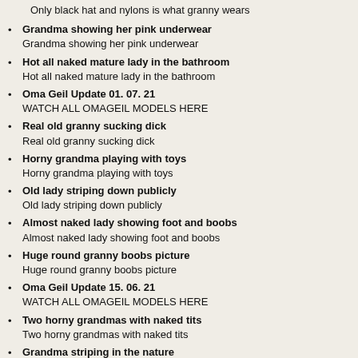Only black hat and nylons is what granny wears
Grandma showing her pink underwear
Grandma showing her pink underwear
Hot all naked mature lady in the bathroom
Hot all naked mature lady in the bathroom
Oma Geil Update 01. 07. 21
WATCH ALL OMAGEIL MODELS HERE
Real old granny sucking dick
Real old granny sucking dick
Horny grandma playing with toys
Horny grandma playing with toys
Old lady striping down publicly
Old lady striping down publicly
Almost naked lady showing foot and boobs
Almost naked lady showing foot and boobs
Huge round granny boobs picture
Huge round granny boobs picture
Oma Geil Update 15. 06. 21
WATCH ALL OMAGEIL MODELS HERE
Two horny grandmas with naked tits
Two horny grandmas with naked tits
Grandma striping in the nature
Grandma striping in the nature
Wrinkly old mature lady tits captured
Wrinkly old mature lady tits captured
Oma Geil Update 01. 06. 21